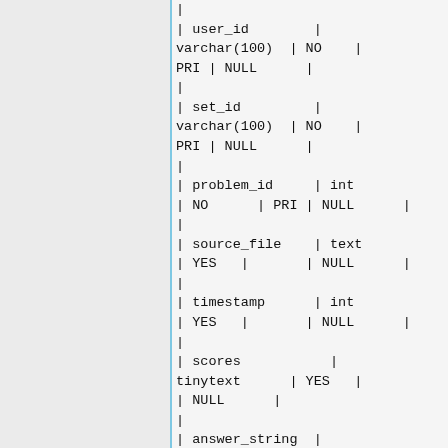| 
| user_id        |
varchar(100)  | NO    |
PRI | NULL      |
|
| set_id         |
varchar(100)  | NO    |
PRI | NULL      |
|
| problem_id     | int
| NO      | PRI | NULL      |
|
| source_file    | text
| YES   |       | NULL      |
|
| timestamp      | int
| YES   |       | NULL      |
|
| scores           |
tinytext      | YES   |
| NULL      |
|
| answer_string  |